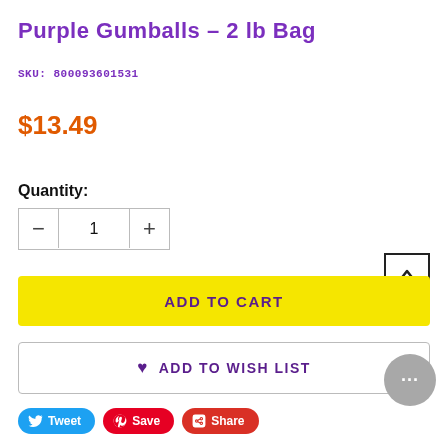Purple Gumballs - 2 lb Bag
SKU: 800093601531
$13.49
Quantity:
ADD TO CART
ADD TO WISH LIST
Tweet  Save  Share